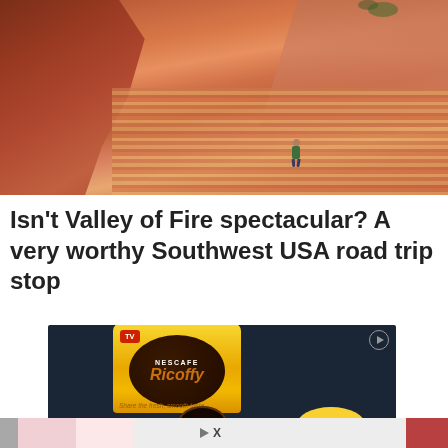[Figure (photo): Aerial/wide view of a person hiking through Valley of Fire State Park, Nevada. Red and orange layered sandstone rock formations fill the frame. A single hiker in teal/green outfit is visible walking along a sandy path between the massive red rock walls.]
Isn’t Valley of Fire spectacular? A very worthy Southwest USA road trip stop
[Figure (photo): Advertisement for Nescafe Ricoffy instant coffee. Dark blue background with a yellow tin of Ricoffy coffee showing the product label, a cup of black coffee, and a price of 87.99. Also shows a Lotto TV badge and the tagline 'Share the fresh, smooth taste'.]
[Figure (photo): Second advertisement banner partially visible at the bottom of the page, light gray background with small ad icons.]